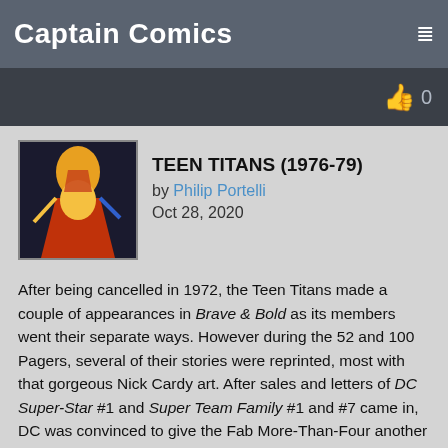Captain Comics
TEEN TITANS (1976-79)
by Philip Portelli
Oct 28, 2020
After being cancelled in 1972, the Teen Titans made a couple of appearances in Brave & Bold as its members went their separate ways. However during the 52 and 100 Pagers, several of their stories were reprinted, most with that gorgeous Nick Cardy art. After sales and letters of DC Super-Star #1 and Super Team Family #1 and #7 came in, DC was convinced to give the Fab More-Than-Four another shot, reviving the series with #44 (N'76).
They reunited Robin, Kid Flash, Wonder Girl, Speedy and Mal, supposedly not seeing each for two years. And not being with Speedy since his drug